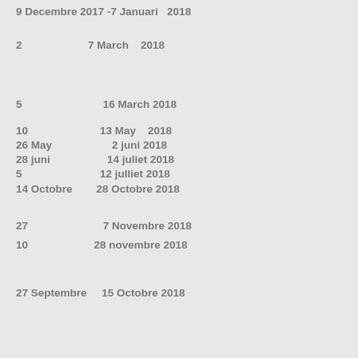9 Decembre 2017 -7 Januari   2018
2                    7 March    2018
5                        16 March 2018
10                       13 May    2018
26 May                   2 juni 2018
28 juni                  14 juliet 2018
5                        12 julliet 2018
14 Octobre        28 Octobre 2018
27                       7 Novembre 2018
10                   28 novembre 2018
27 Septembre     15 Octobre 2018